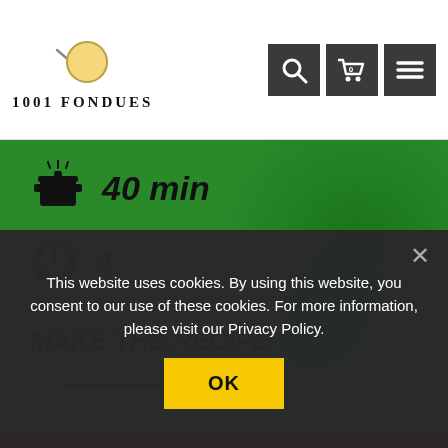[Figure (logo): 1001 Fondues logo with pan icon and text]
40 min
4
MAKE THE RECIPE
[Figure (other): Arrow pointing right]
This website uses cookies. By using this website, you consent to our use of these cookies. For more information, please visit our Privacy Policy.